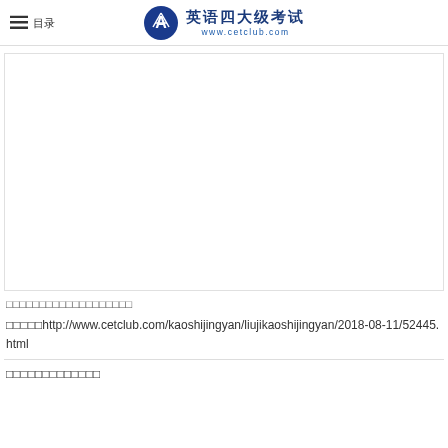英语四六级考试 www.cetclub.com
[Figure (other): Large white blank content area (advertisement or image placeholder)]
□□□□□□□□□□□□□□□□□□□
□□□□□http://www.cetclub.com/kaoshijingyan/liujikaoshijingyan/2018-08-11/52445.html
□□□□□□□□□□□□□